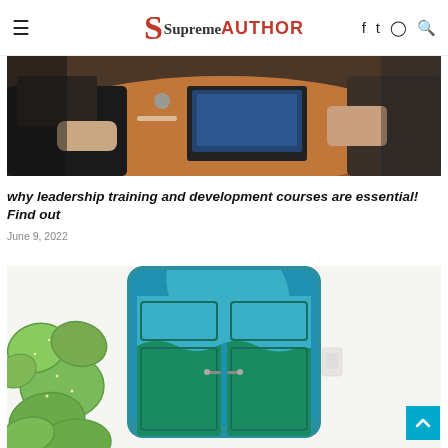SupremeAUTHOR
[Figure (photo): Photo of people working at a round wooden table with laptops, viewed from above/side angle]
why leadership training and development courses are essential! Find out
June 9, 2022
[Figure (photo): Photo of a teal/turquoise double door with decorative arch top and cactus plant in foreground against white wall]